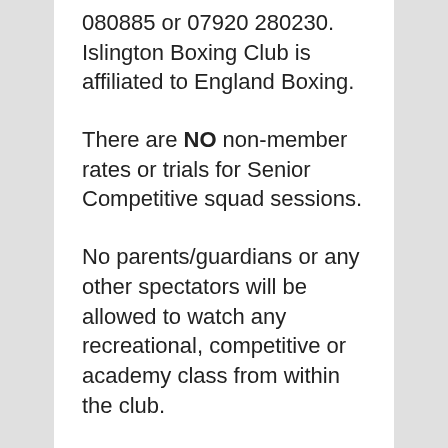080885 or 07920 280230. Islington Boxing Club is affiliated to England Boxing.
There are NO non-member rates or trials for Senior Competitive squad sessions.
No parents/guardians or any other spectators will be allowed to watch any recreational, competitive or academy class from within the club.
There are NO REFUNDS for any pre booked sessions. We